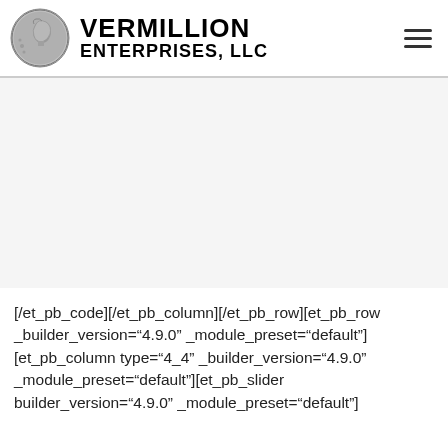[Figure (logo): Vermillion Enterprises LLC logo with coin image and bold text]
[/et_pb_code][/et_pb_column][/et_pb_row][et_pb_row _builder_version="4.9.0" _module_preset="default"][et_pb_column type="4_4" _builder_version="4.9.0" _module_preset="default"][et_pb_slider builder_version="4.9.0" _module_preset="default"]